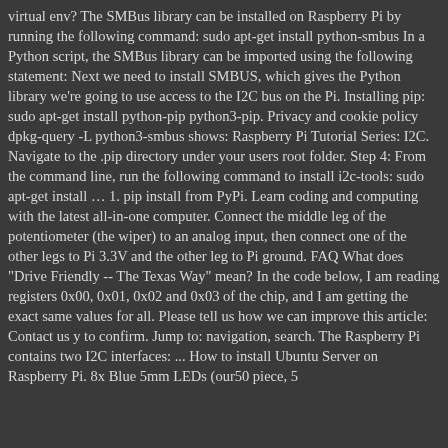virtual env? The SMBus library can be installed on Raspberry Pi by running the following command: sudo apt-get install python-smbus In a Python script, the SMBus library can be imported using the following statement: Next we need to install SMBUS, which gives the Python library we're going to use access to the I2C bus on the Pi. Installing pip: sudo apt-get install python-pip python3-pip. Privacy and cookie policy dpkg-query -L python3-smbus shows: Raspberry Pi Tutorial Series: I2C. Navigate to the .pip directory under your users root folder. Step 4: From the command line, run the following command to install i2c-tools: sudo apt-get install … 1. pip install from PyPi. Learn coding and computing with the latest all-in-one computer. Connect the middle leg of the potentiometer (the wiper) to an analog input, then connect one of the other legs to Pi 3.3V and the other leg to Pi ground. FAQ What does "Drive Friendly -- The Texas Way" mean? In the code below, I am reading registers 0x00, 0x01, 0x02 and 0x03 of the chip, and I am getting the exact same values for all. Please tell us how we can improve this article: Contact us y to confirm. Jump to: navigation, search. The Raspberry Pi contains two I2C interfaces: ... How to install Ubuntu Server on Raspberry Pi. 8x Blue 5mm LEDs (our50 piece, 5